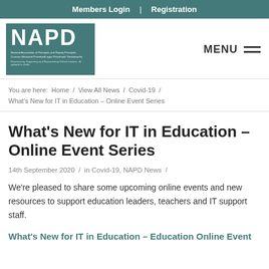Members Login  |  Registration
[Figure (logo): NAPD logo — teal square with large white NAPD text and subtitle text about National Association of Principals and Deputy Principals]
MENU
You are here:  Home / View All News / Covid-19 / What's New for IT in Education – Online Event Series
What's New for IT in Education – Online Event Series
14th September 2020  /  in Covid-19, NAPD News  /
We're pleased to share some upcoming online events and new resources to support education leaders, teachers and IT support staff.
What's New for IT in Education – Education Online Event